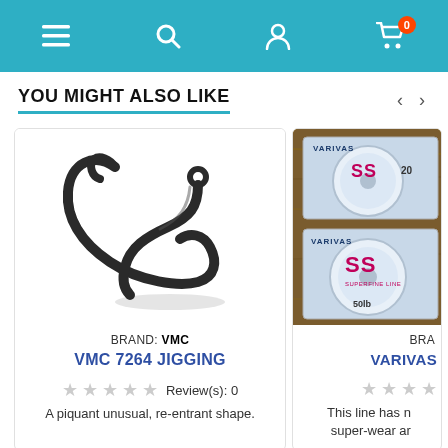Navigation bar with menu, search, account, and cart (0 items) icons
YOU MIGHT ALSO LIKE
[Figure (photo): Black fishing hook (VMC 7264 Jigging) on white background - curved single hook with sharp point]
BRAND: VMC
VMC 7264 JIGGING
Review(s): 0
A piquant unusual, re-entrant shape.
[Figure (photo): VARIVAS SS fishing line spools stacked on wooden surface, partially visible]
BRA
VARIVAS
This line has n super-wear ar